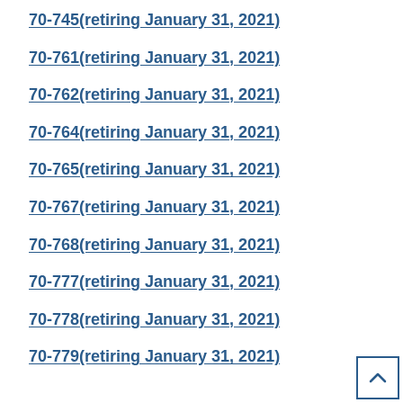70-745(retiring January 31, 2021)
70-761(retiring January 31, 2021)
70-762(retiring January 31, 2021)
70-764(retiring January 31, 2021)
70-765(retiring January 31, 2021)
70-767(retiring January 31, 2021)
70-768(retiring January 31, 2021)
70-777(retiring January 31, 2021)
70-778(retiring January 31, 2021)
70-779(retiring January 31, 2021)